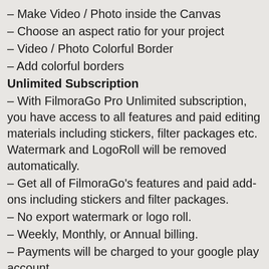– Make Video / Photo inside the Canvas
– Choose an aspect ratio for your project
– Video / Photo Colorful Border
– Add colorful borders
Unlimited Subscription
– With FilmoraGo Pro Unlimited subscription, you have access to all features and paid editing materials including stickers, filter packages etc. Watermark and LogoRoll will be removed automatically.
– Get all of FilmoraGo’s features and paid add-ons including stickers and filter packages.
– No export watermark or logo roll.
– Weekly, Monthly, or Annual billing.
– Payments will be charged to your google play account.
– Subscriptions will automatically be renewed unless